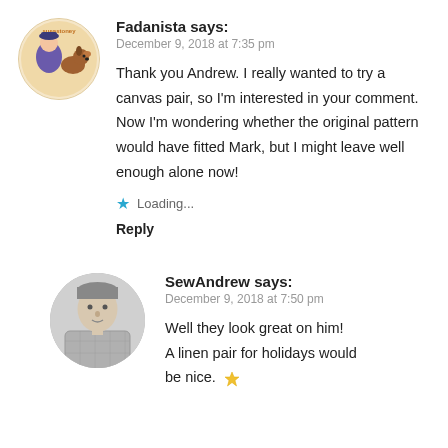[Figure (illustration): Round avatar of sueastoney — cartoon illustration of a person with a dog, orange/purple tones]
Fadanista says:
December 9, 2018 at 7:35 pm
Thank you Andrew. I really wanted to try a canvas pair, so I'm interested in your comment. Now I'm wondering whether the original pattern would have fitted Mark, but I might leave well enough alone now!
★ Loading...
Reply
[Figure (photo): Round avatar photo of SewAndrew — grayscale photo of a man in a plaid shirt]
SewAndrew says:
December 9, 2018 at 7:50 pm
Well they look great on him! A linen pair for holidays would be nice.